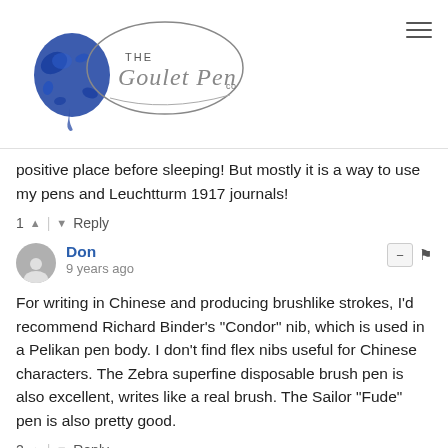[Figure (logo): The Goulet Pen Co logo with blue ink splash and cursive script]
positive place before sleeping! But mostly it is a way to use my pens and Leuchtturm 1917 journals!
1 ▲ | ▾ Reply
Don
9 years ago
For writing in Chinese and producing brushlike strokes, I'd recommend Richard Binder's "Condor" nib, which is used in a Pelikan pen body. I don't find flex nibs useful for Chinese characters. The Zebra superfine disposable brush pen is also excellent, writes like a real brush. The Sailor "Fude" pen is also pretty good.
2 ▲ | ▾ Reply